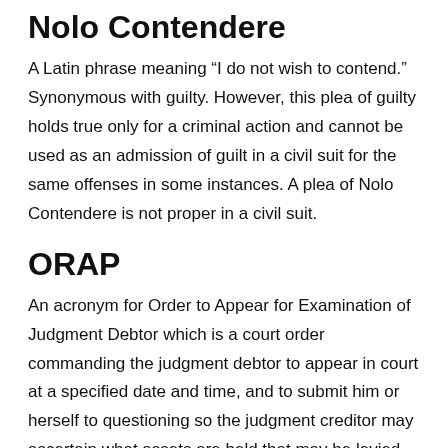Nolo Contendere
A Latin phrase meaning “I do not wish to contend.” Synonymous with guilty. However, this plea of guilty holds true only for a criminal action and cannot be used as an admission of guilt in a civil suit for the same offenses in some instances. A plea of Nolo Contendere is not proper in a civil suit.
ORAP
An acronym for Order to Appear for Examination of Judgment Debtor which is a court order commanding the judgment debtor to appear in court at a specified date and time, and to submit him or herself to questioning so the judgment creditor may ascertain what assets are held that may be levied upon to satisfy the judgment. If an ORAP is personally served on the judgment debtor